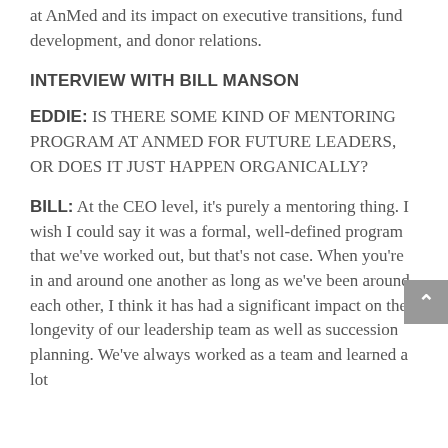at AnMed and its impact on executive transitions, fund development, and donor relations.
INTERVIEW WITH BILL MANSON
EDDIE: IS THERE SOME KIND OF MENTORING PROGRAM AT ANMED FOR FUTURE LEADERS, OR DOES IT JUST HAPPEN ORGANICALLY?
BILL: At the CEO level, it's purely a mentoring thing. I wish I could say it was a formal, well-defined program that we've worked out, but that's not case. When you're in and around one another as long as we've been around each other, I think it has had a significant impact on the longevity of our leadership team as well as succession planning. We've always worked as a team and learned a lot from each other, as a team. So...